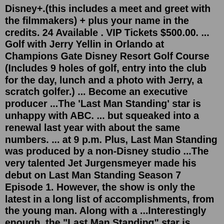Disney+.(this includes a meet and greet with the filmmakers) + plus your name in the credits. 24 Available . VIP Tickets $500.00. ... Golf with Jerry Yellin in Orlando at Champions Gate Disney Resort Golf Course (Includes 9 holes of golf, entry into the club for the day, lunch and a photo with Jerry, a scratch golfer.) ... Become an executive producer ...The 'Last Man Standing' star is unhappy with ABC. ... but squeaked into a renewal last year with about the same numbers. ... at 9 p.m. Plus, Last Man Standing was produced by a non-Disney studio ...The very talented Jet Jurgensmeyer made his debut on Last Man Standing Season 7 Episode 1. However, the show is only the latest in a long list of accomplishments, from the young man. Along with a ...Interestingly enough, the "Last Man Standing" star is starring in an upcoming Disney series called "The Santa Clause." ... plus more great photos of stars at Disney theme parks ...Tim Allen. American actor and comedian. From Delish. Last Man Standing has been on the air since 2011. The sitcom stars Tim Allen as